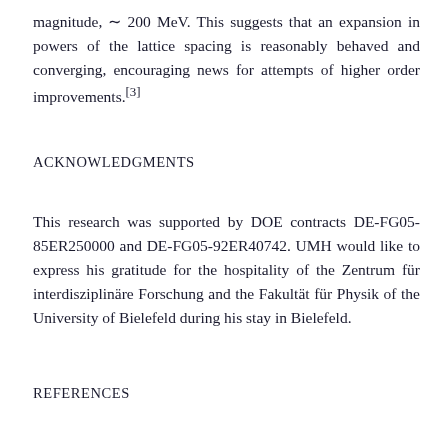magnitude, ~ 200 MeV. This suggests that an expansion in powers of the lattice spacing is reasonably behaved and converging, encouraging news for attempts of higher order improvements.[3]
ACKNOWLEDGMENTS
This research was supported by DOE contracts DE-FG05-85ER250000 and DE-FG05-92ER40742. UMH would like to express his gratitude for the hospitality of the Zentrum für interdisziplinäre Forschung and the Fakultät für Physik of the University of Bielefeld during his stay in Bielefeld.
REFERENCES